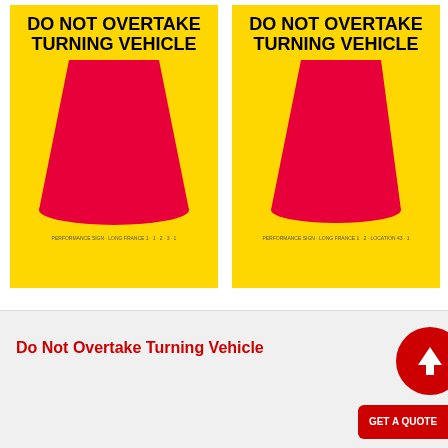[Figure (illustration): Two yellow warning signs side by side, each reading 'DO NOT OVERTAKE TURNING VEHICLE' in bold black text at the top, with a large pink/magenta trapezoid shape below representing a turning vehicle graphic. Small text appears near the bottom of each sign.]
Do Not Overtake Turning Vehicle